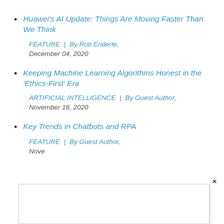Huawei's AI Update: Things Are Moving Faster Than We Think
FEATURE | By Rob Enderle, December 04, 2020
Keeping Machine Learning Algorithms Honest in the 'Ethics-First' Era
ARTIFICIAL INTELLIGENCE | By Guest Author, November 18, 2020
Key Trends in Chatbots and RPA
FEATURE | By Guest Author, November 18, 2020